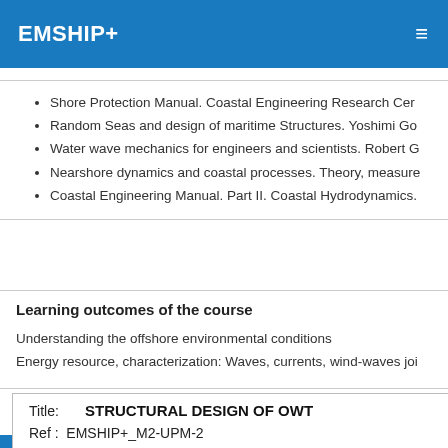EMSHIP+
Shore Protection Manual. Coastal Engineering Research Cer
Random Seas and design of maritime Structures. Yoshimi Go
Water wave mechanics for engineers and scientists. Robert G
Nearshore dynamics and coastal processes. Theory, measure
Coastal Engineering Manual. Part II. Coastal Hydrodynamics.
Learning outcomes of the course
Understanding the offshore environmental conditions
Energy resource, characterization: Waves, currents, wind-waves joi
| Title: | STRUCTURAL DESIGN OF OWT |
| --- | --- |
| Ref : | EMSHIP+_M2-UPM-2 |  |  |
| Prof : | V. NEGRO |  | Teachi |
| Link |  |  |  |